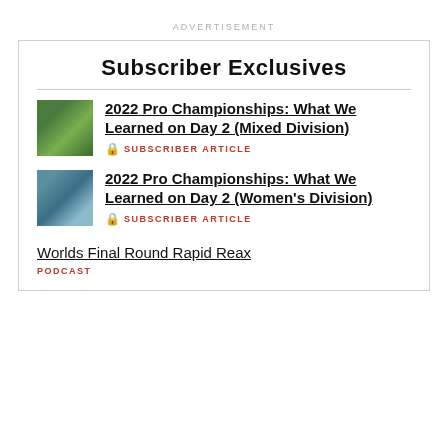ADVERTISEMENT
Subscriber Exclusives
2022 Pro Championships: What We Learned on Day 2 (Mixed Division) — SUBSCRIBER ARTICLE
2022 Pro Championships: What We Learned on Day 2 (Women's Division) — SUBSCRIBER ARTICLE
Worlds Final Round Rapid Reax — PODCAST